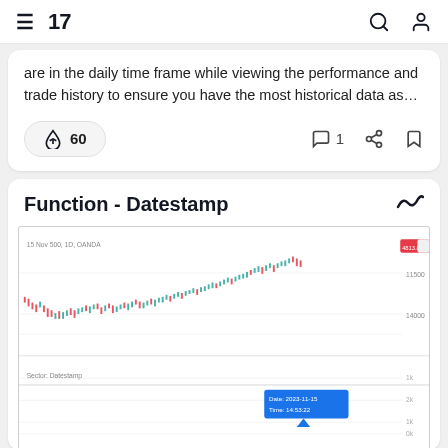TradingView navigation header
are in the daily time frame while viewing the performance and trade history to ensure you have the most historical data as…
🚀 60   💬 1   share   bookmark
Function - Datestamp
[Figure (screenshot): TradingView chart screenshot showing a candlestick chart with price action and a Function - Datestamp indicator panel below, with a blue tooltip box showing date/time information]